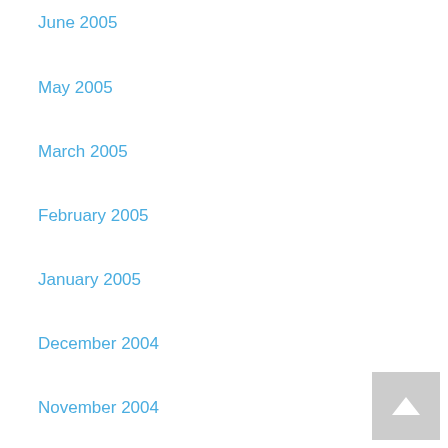June 2005
May 2005
March 2005
February 2005
January 2005
December 2004
November 2004
October 2004
September 2004
June 2004
May 2004
April 2004
March 2004
February 2004
January 2004
December 2003
November 2003